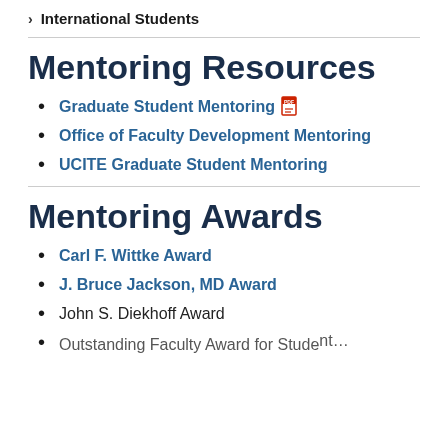International Students
Mentoring Resources
Graduate Student Mentoring [PDF]
Office of Faculty Development Mentoring
UCITE Graduate Student Mentoring
Mentoring Awards
Carl F. Wittke Award
J. Bruce Jackson, MD Award
John S. Diekhoff Award
Outstanding Faculty Award for Student...